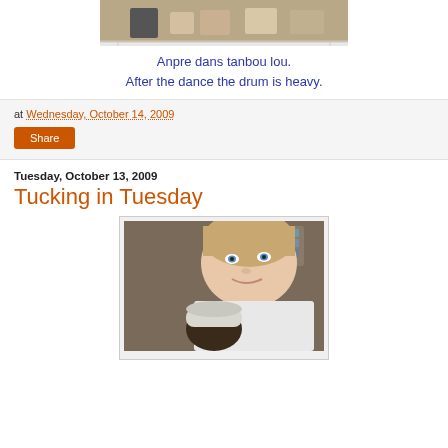[Figure (photo): Partial photo at top showing shoes on a shelf, cropped at top of page]
Anpre dans tanbou lou.
After the dance the drum is heavy.
at Wednesday, October 14, 2009
Share
Tuesday, October 13, 2009
Tucking in Tuesday
[Figure (photo): Photo of a young woman with blue eyes holding a baby, smiling at camera]